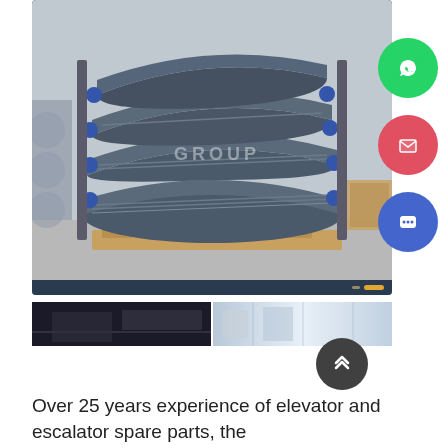[Figure (photo): Industrial escalator steps/pallets stacked on a wooden pallet in a warehouse/factory setting. Multiple curved metal escalator step components with blue rollers are stacked in a rack. The word GROUP appears as a watermark. Navigation dots visible at bottom right of image frame.]
[Figure (photo): Thumbnail strip showing two small preview images: left is a dark industrial interior, right is a bright warehouse/factory interior.]
Over 25 years experience of elevator and escalator spare parts, the